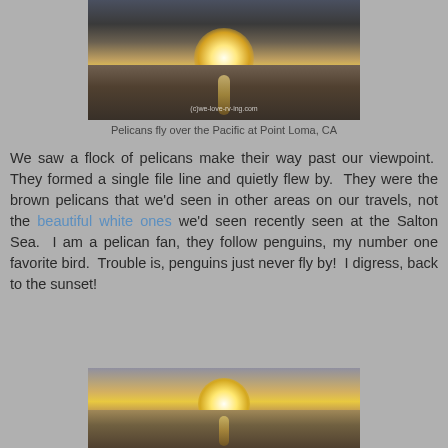[Figure (photo): Photograph of pelicans flying over the Pacific Ocean at Point Loma, CA at sunset, with silhouetted rocks and golden light reflecting on water. Watermark: (c)we-love-rv-ing.com]
Pelicans fly over the Pacific at Point Loma, CA
We saw a flock of pelicans make their way past our viewpoint. They formed a single file line and quietly flew by. They were the brown pelicans that we'd seen in other areas on our travels, not the beautiful white ones we'd seen recently seen at the Salton Sea. I am a pelican fan, they follow penguins, my number one favorite bird. Trouble is, penguins just never fly by! I digress, back to the sunset!
[Figure (photo): Photograph of a golden sunset over the Pacific Ocean with warm orange and yellow sky, clouds, and reflective calm water.]